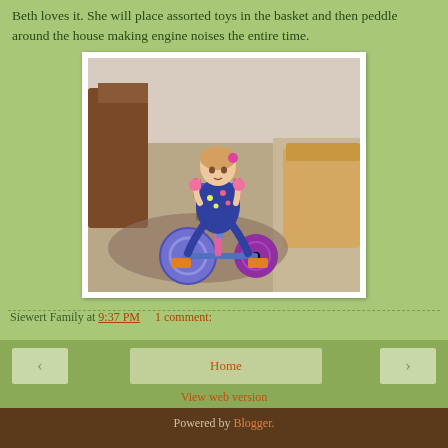Beth loves it. She will place assorted toys in the basket and then peddle around the house making engine noises the entire time.
[Figure (photo): Young child sitting on a purple and pink tricycle with a wicker basket on the front, photographed indoors on a carpeted floor with wooden furniture in the background.]
Siewert Family at 9:37 PM     1 comment:
Home
View web version
Powered by Blogger.